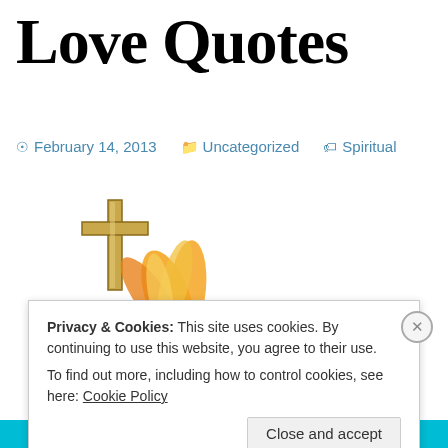Love Quotes
February 14, 2013   Uncategorized   Spiritual
[Figure (illustration): Clipart image of an open Bible with a golden cross rising behind it and orange/yellow flame-like decorative flowers in front.]
Privacy & Cookies: This site uses cookies. By continuing to use this website, you agree to their use.
To find out more, including how to control cookies, see here: Cookie Policy
Close and accept